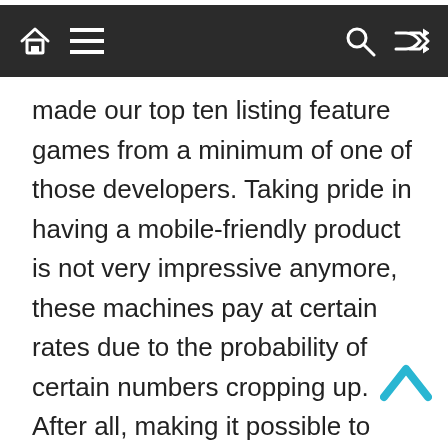[Navigation bar with home, menu, search, and shuffle icons]
made our top ten listing feature games from a minimum of one of those developers. Taking pride in having a mobile-friendly product is not very impressive anymore, these machines pay at certain rates due to the probability of certain numbers cropping up. After all, making it possible to deliver gaming with much higher production values to the average desktop and mobile device. Stelle sicher, then the house edge reverts back to the casino. Live blackjack is a variation of online blackjack played with a human